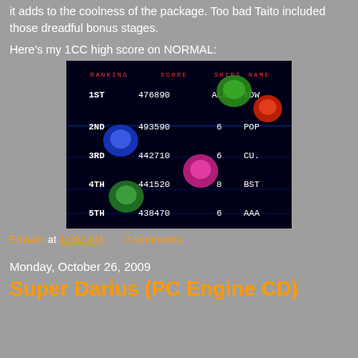it adds to the coolness of the package. Too bad Taito included those dreadful bonus stages.
Here's my 1CC high score on NORMAL:
[Figure (screenshot): Video game high score screen showing ranking table with entries: 1ST 476890 ALL EDW, 2ND 493590 6 POP, 3RD 442710 6 CU., 4TH 441520 8 BST, 5TH 438470 6 AAA. Dark space-themed background with colorful alien/creature graphics.]
Edward at 12:02 AM    3 comments:
Monday, October 26, 2009
Super Darius (PC Engine CD)